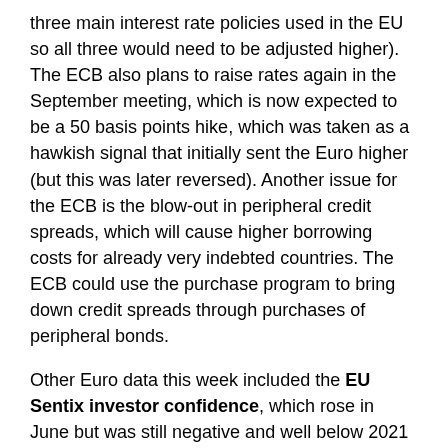three main interest rate policies used in the EU so all three would need to be adjusted higher). The ECB also plans to raise rates again in the September meeting, which is now expected to be a 50 basis points hike, which was taken as a hawkish signal that initially sent the Euro higher (but this was later reversed). Another issue for the ECB is the blow-out in peripheral credit spreads, which will cause higher borrowing costs for already very indebted countries. The ECB could use the purchase program to bring down credit spreads through purchases of peripheral bonds.
Other Euro data this week included the EU Sentix investor confidence, which rose in June but was still negative and well below 2021 levels. Germany activity data remains weak as economic activity continues to be negatively impacted by high inflation. Factory orders fell by 2.7% in April (below estimates of a small rise). Industrial production rose by a moderate 0.7%, but this is